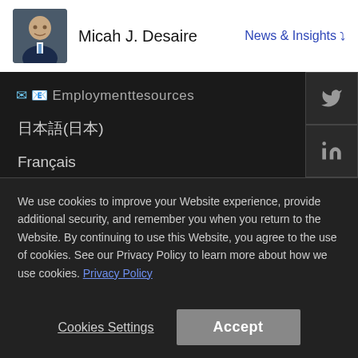Micah J. Desaire | News & Insights
日本語(日本)
Français
Deutsch
Español
Locations
We use cookies to improve your Website experience, provide additional security, and remember you when you return to the Website. By continuing to use this Website, you agree to the use of cookies. See our Privacy Policy to learn more about how we use cookies. Privacy Policy
Cookies Settings | Accept